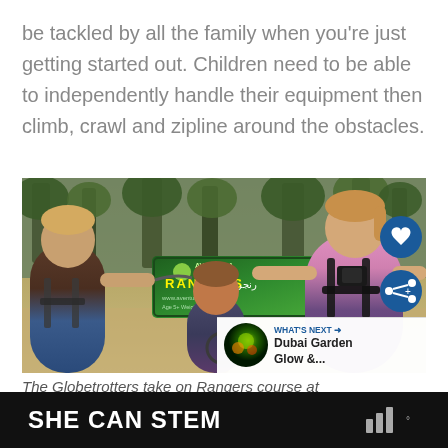be tackled by all the family when you're just getting started out. Children need to be able to independently handle their equipment then climb, crawl and zipline around the obstacles.
[Figure (photo): Three children in harnesses standing at a Rangers course sign at an Aventura outdoor adventure park. A boy on the left, a younger boy in the center, and a girl on the right wearing a chest-mounted camera. Social media buttons (heart and share) overlay the right edge of the image. A 'What's Next' overlay in the bottom right shows a thumbnail and text reading 'Dubai Garden Glow &...']
The Globetrotters take on Rangers course at
SHE CAN STEM